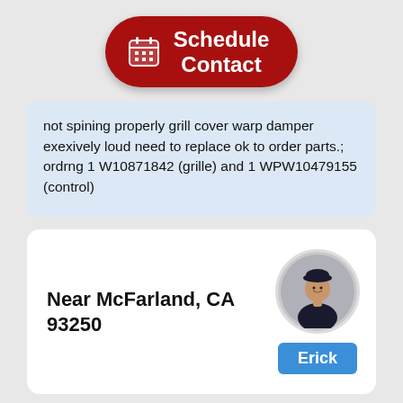[Figure (other): Red rounded button with calendar icon and text 'Schedule Contact']
not spining properly grill cover warp damper exexively loud need to replace ok to order parts.; ordrng 1 W10871842 (grille) and 1 WPW10479155 (control)
Near McFarland, CA 93250
[Figure (photo): Circular avatar photo of a technician wearing a black cap and black uniform jacket]
Erick